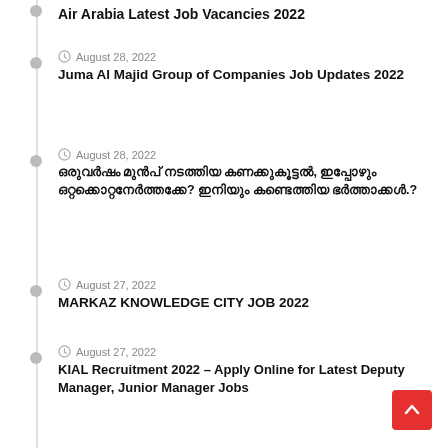Air Arabia Latest Job Vacancies 2022
August 28, 2022 — Juma Al Majid Group of Companies Job Updates 2022
August 28, 2022 — [Malayalam text]
August 27, 2022 — MARKAZ KNOWLEDGE CITY JOB 2022
August 27, 2022 — KIAL Recruitment 2022 - Apply Online for Latest Deputy Manager, Junior Manager Jobs
August 27, 2022 — OY Hospitality Hiring Staff inn Dubai
August 26, 2022 — [Malayalam text]